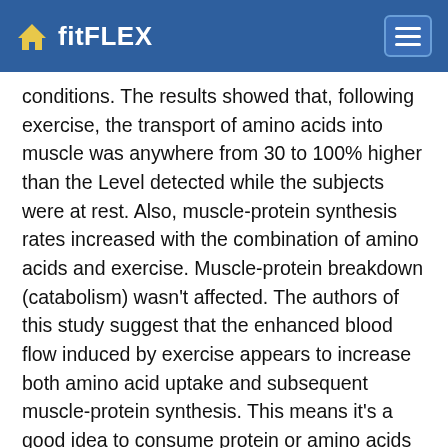fitFLEX
conditions. The results showed that, following exercise, the transport of amino acids into muscle was anywhere from 30 to 100% higher than the Level detected while the subjects were at rest. Also, muscle-protein synthesis rates increased with the combination of amino acids and exercise. Muscle-protein breakdown (catabolism) wasn't affected. The authors of this study suggest that the enhanced blood flow induced by exercise appears to increase both amino acid uptake and subsequent muscle-protein synthesis. This means it's a good idea to consume protein or amino acids as soon as possible after training to take advantage of the increased blood circulation and amino acid uptake in the muscle.